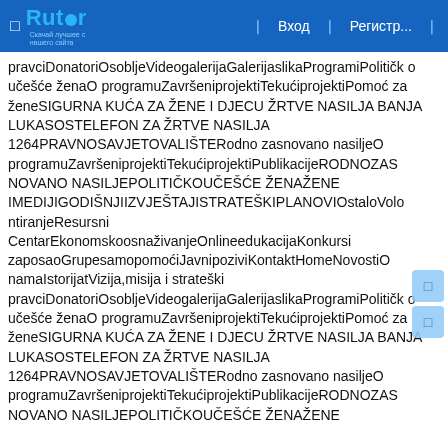Rutor | Вход | Регистр...
pravciDonatoriOsobljeVideogalerijaGalerijaslikaProgramiPolitičko učešće ženaO programuZavršeniprojektiTekućiprojektiPomoć za ženeSIGURNA KUĆA ZA ŽENE I DJECU ŽRTVE NASILJA BANJA LUKASOSTELEFON ZA ŽRTVE NASILJA 1264PRAVNOSAVJETOVALIŠTERodno zasnovano nasiljeO programuZavršeniprojektiTekućiprojektiPublikacijeRODNOZASNOVANO NASILJEPOLITIČKOUČEŠĆE ŽENAŽENE IMEDIJIGODIŠNJIIZVJEŠTAJISTRATEŠKIPLANOVIOstaloVolontiranjeResursni CentarEkonomskoosnaživanjeOnlineedukacijaKonkursi zaposaoGrupesamopomoćiJavnipoziviKontaktHomeNovostiOnamaIstorijatVizija,misija i strateški pravciDonatoriOsobljeVideogalerijaGalerijaslikaProgramiPolitičko učešće ženaO programuZavršeniprojektiTekućiprojektiPomoć za ženeSIGURNA KUĆA ZA ŽENE I DJECU ŽRTVE NASILJA BANJA LUKASOSTELEFON ZA ŽRTVE NASILJA 1264PRAVNOSAVJETOVALIŠTERodno zasnovano nasiljeO programuZavršeniprojektiTekućiprojektiPublikacijeRODNOZASNOVANO NASILJEPOLITIČKOUČEŠĆE ŽENAŽENE